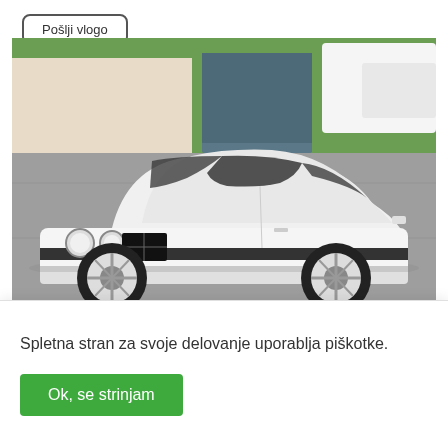Pošlji vlogo
[Figure (photo): White BMW E30 coupe parked in a driveway in front of a house with a green garage door and green lawn. A large white truck is visible in the background.]
AVTO MOTO
AVTOMOBILIZEM | ... BMW i ...
Spletna stran za svoje delovanje uporablja piškotke.
Ok, se strinjam